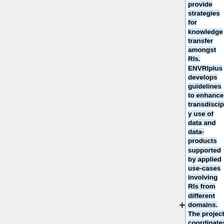provide strategies for knowledge transfer amongst RIs. ENVRIplus develops guidelines to enhance transdisciplinary use of data and data-products supported by applied use-cases involving RIs from different domains. The project coordinates actions to improve